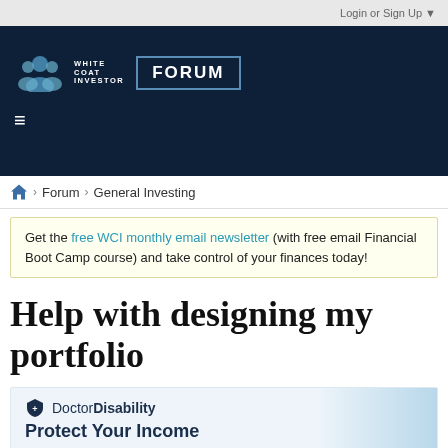Login or Sign Up ▼
[Figure (logo): White Coat Investor Forum logo — white figures icon, WHITE COAT INVESTOR text, and FORUM badge on dark navy background with hamburger menu]
🏠 > Forum > General Investing
Get the free WCI monthly email newsletter (with free email Financial Boot Camp course) and take control of your finances today!
Help with designing my portfolio
[Figure (illustration): DoctorDisability advertisement — shield logo, DoctorDisability brand name, headline: Protect Your Income, with background image of medical professional in white coat]